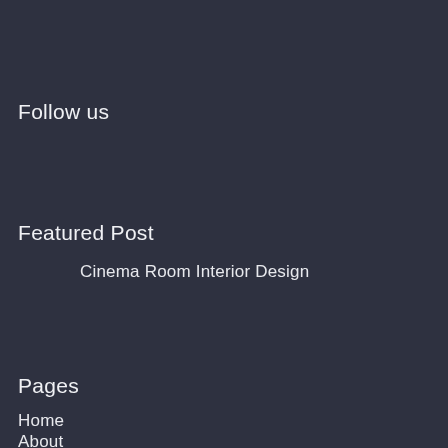Follow us
Featured Post
Cinema Room Interior Design
Pages
Home
About